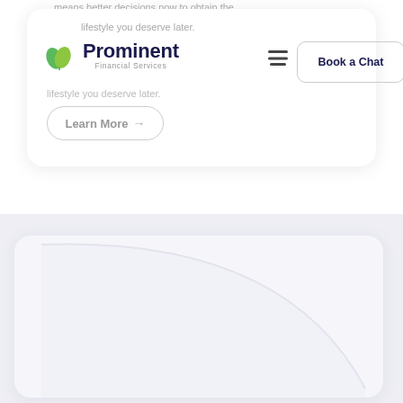means better decisions now to obtain the lifestyle you deserve later.
[Figure (logo): Prominent Financial Services logo with two green leaves and dark navy text]
Book a Chat
Learn More →
[Figure (illustration): White card with decorative arc curve on light lavender background, partially visible at bottom of page]